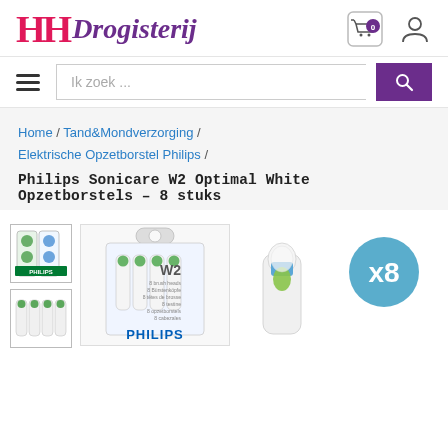[Figure (logo): HH Drogisterij logo with pink HH letters and purple italic script text 'Drogisterij']
[Figure (illustration): Shopping cart icon with '0' badge and user/account icon in header]
[Figure (illustration): Hamburger menu icon, search bar with 'Ik zoek ...' placeholder, and purple search button]
Home / Tand&Mondverzorging / Elektrische Opzetborstel Philips /
Philips Sonicare W2 Optimal White Opzetborstels – 8 stuks
[Figure (photo): Two thumbnail images of Philips Sonicare W2 toothbrush heads product packaging]
[Figure (photo): Main product image: Philips Sonicare W2 brush heads in packaging with W2 branding and PHILIPS logo]
[Figure (photo): Side product image showing a single brush head and a blue circle with 'x8' indicating 8 pieces]